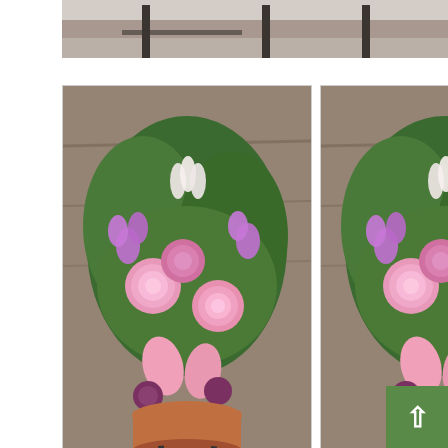[Figure (photo): Partial top photo strip showing what appears to be a patio or outdoor setting with dark metal furniture on a concrete surface]
[Figure (photo): Photo of a floral arrangement with pink roses, purple flowers, lilies, and greenery in a terracotta pot on a black metal stand, set against a rustic wooden background]
[Figure (photo): Duplicate or similar photo of a floral arrangement with pink roses, purple flowers, lilies, and greenery in a terracotta pot on a black metal stand, set against a rustic wooden background]
ℹ Our floral industry worldwide was growing really fast up until two years ago. Now, due to the worldwide pandemic business within the floral industry has grown twenty-fold in those two years. With the demand for flowers and plants being at an all-time high, frequently the demand outweighs the availability of some varieties. So, we frequently have the need to make subtable